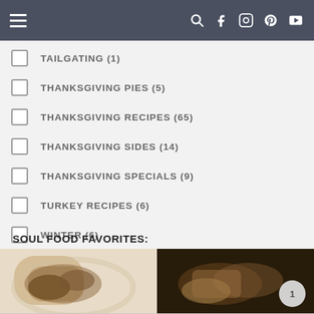Navigation bar with hamburger menu and social icons
TAILGATING (1)
THANKSGIVING PIES (5)
THANKSGIVING RECIPES (65)
THANKSGIVING SIDES (14)
THANKSGIVING SPECIALS (9)
TURKEY RECIPES (6)
WINTER (6)
SOUL FOOD FAVORITES:
[Figure (photo): Four food photos in a 2x2 grid showing soul food dishes]
1